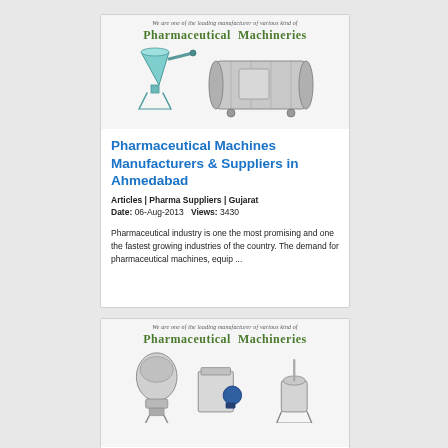[Figure (illustration): Banner image: pharmaceutical machinery advertisement with a conical vessel and a horizontal drum/blender machine, with tagline 'We are one of the leading manufacturer of various kind of Pharmaceutical Machineries']
Pharmaceutical Machines Manufacturers & Suppliers in Ahmedabad
Articles | Pharma Suppliers | Gujarat
Date: 06-Aug-2013  Views: 3430
Pharmaceutical industry is one the most promising and one the fastest growing industries of the country. The demand for pharmaceutical machines, equip ...
[Figure (illustration): Banner image: pharmaceutical machinery advertisement with three machines (fluid bed dryer, pulverizer, and stirrer/mixer), with tagline 'We are one of the leading manufacturer of various kind of Pharmaceutical Machineries']